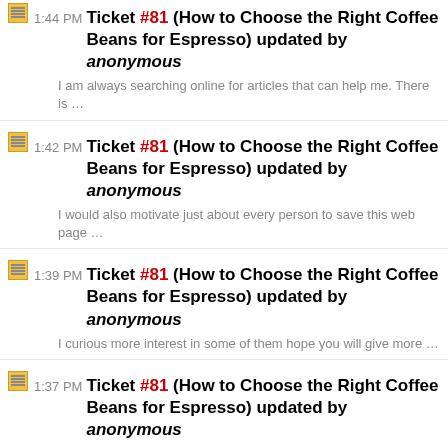1:44 PM Ticket #81 (How to Choose the Right Coffee Beans for Espresso) updated by anonymous
I am always searching online for articles that can help me. There is …
1:42 PM Ticket #81 (How to Choose the Right Coffee Beans for Espresso) updated by anonymous
I would also motivate just about every person to save this web page …
1:39 PM Ticket #81 (How to Choose the Right Coffee Beans for Espresso) updated by anonymous
I curious more interest in some of them hope you will give more …
1:37 PM Ticket #81 (How to Choose the Right Coffee Beans for Espresso) updated by anonymous
The blog and data is excellent and informative as well …
1:35 PM Ticket #81 (How to Choose the Right Coffee Beans for Espresso) updated by anonymous
You actually make it look so easy with your performance but I find …
1:33 PM Ticket #81 (How to Choose the Right Coffee Beans for Espresso)